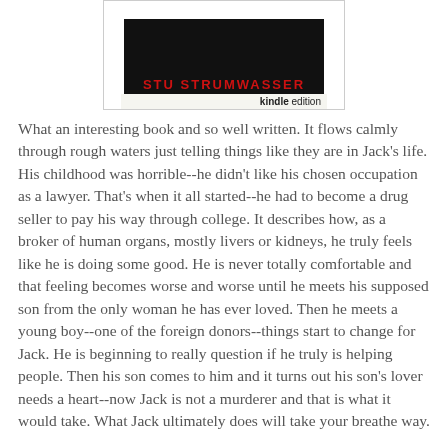[Figure (illustration): Book cover image showing author name 'STU STRUMWASSER' in bold red text on dark background, with a 'kindle edition' badge at the bottom right corner, enclosed in a light grey border box.]
What an interesting book and so well written. It flows calmly through rough waters just telling things like they are in Jack's life. His childhood was horrible--he didn't like his chosen occupation as a lawyer. That's when it all started--he had to become a drug seller to pay his way through college. It describes how, as a broker of human organs, mostly livers or kidneys, he truly feels like he is doing some good. He is never totally comfortable and that feeling becomes worse and worse until he meets his supposed son from the only woman he has ever loved. Then he meets a young boy--one of the foreign donors--things start to change for Jack. He is beginning to really question if he truly is helping people. Then his son comes to him and it turns out his son's lover needs a heart--now Jack is not a murderer and that is what it would take. What Jack ultimately does will take your breathe way.
Although this is a novel, I am sure there is a black market fo...